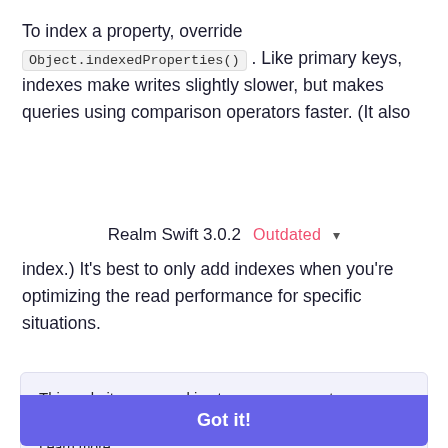To index a property, override Object.indexedProperties() . Like primary keys, indexes make writes slightly slower, but makes queries using comparison operators faster. (It also
Realm Swift 3.0.2  Outdated ▾
index.) It's best to only add indexes when you're optimizing the read performance for specific situations.
This website uses cookies to ensure you get the best experience on our website.
Learn more
->
Got it!